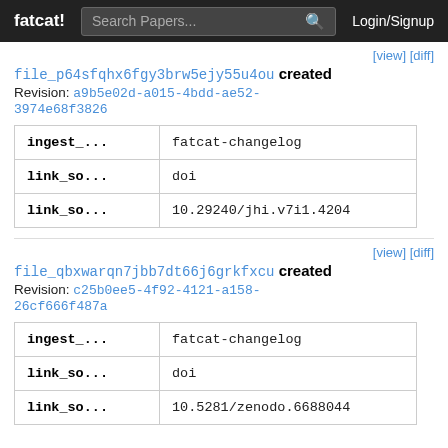fatcat!  Search Papers...  Login/Signup
[view] [diff]
file_p64sfqhx6fgy3brw5ejy55u4ou created
Revision: a9b5e02d-a015-4bdd-ae52-3974e68f3826
| ingest_... | fatcat-changelog |
| link_so... | doi |
| link_so... | 10.29240/jhi.v7i1.4204 |
[view] [diff]
file_qbxwarqn7jbb7dt66j6grkfxcu created
Revision: c25b0ee5-4f92-4121-a158-26cf666f487a
| ingest_... | fatcat-changelog |
| link_so... | doi |
| link_so... | 10.5281/zenodo.6688044 |